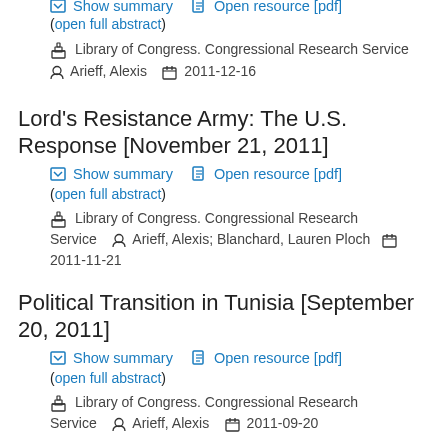Show summary | Open resource [pdf]
(open full abstract)
🏛 Library of Congress. Congressional Research Service   👤 Arieff, Alexis   📅 2011-12-16
Lord's Resistance Army: The U.S. Response [November 21, 2011]
Show summary | Open resource [pdf]
(open full abstract)
🏛 Library of Congress. Congressional Research Service   👤 Arieff, Alexis; Blanchard, Lauren Ploch   📅 2011-11-21
Political Transition in Tunisia [September 20, 2011]
Show summary | Open resource [pdf]
(open full abstract)
🏛 Library of Congress. Congressional Research Service   👤 Arieff, Alexis   📅 2011-09-20